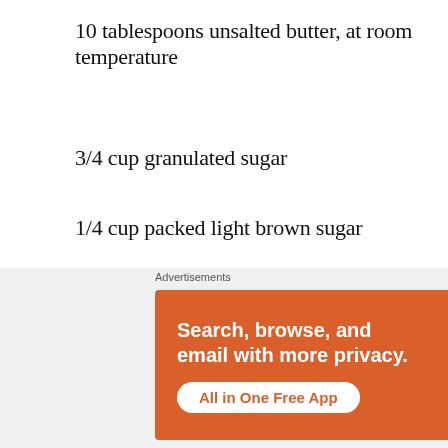10 tablespoons unsalted butter, at room temperature
3/4 cup granulated sugar
1/4 cup packed light brown sugar
1 large egg
1 teaspoon pure vanilla extract
1/2 ...
[Figure (screenshot): DuckDuckGo advertisement banner: orange background with text 'Search, browse, and email with more privacy. All in One Free App' with DuckDuckGo logo and phone image. Labeled 'Advertisements' above.]